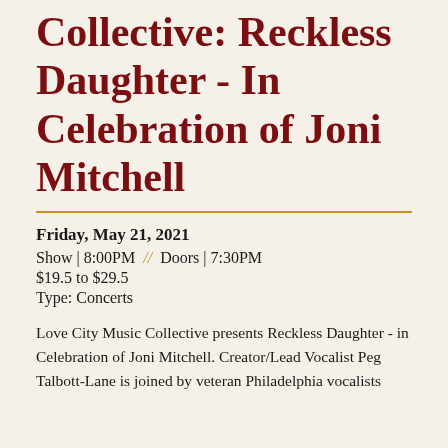Collective: Reckless Daughter - In Celebration of Joni Mitchell
Friday, May 21, 2021
Show | 8:00PM  //  Doors | 7:30PM
$19.5 to $29.5
Type: Concerts
Love City Music Collective presents Reckless Daughter - in Celebration of Joni Mitchell. Creator/Lead Vocalist Peg Talbott-Lane is joined by veteran Philadelphia vocalists